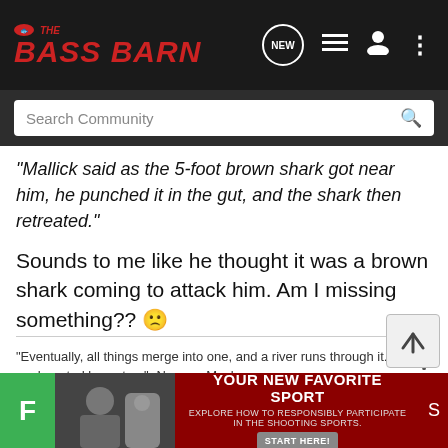[Figure (screenshot): The Bass Barn fishing community website header with logo, navigation icons (NEW chat bubble, list, user, dots menu), and search bar]
"Mallick said as the 5-foot brown shark got near him, he punched it in the gut, and the shark then retreated."
Sounds to me like he thought it was a brown shark coming to attack him. Am I missing something?? 🙁
"Eventually, all things merge into one, and a river runs through it... I am haunted by waters" -Norman Maclean
[Figure (screenshot): Advertisement banner at bottom: green F avatar, photo of person, dark red ad for shooting sports with START HERE button]